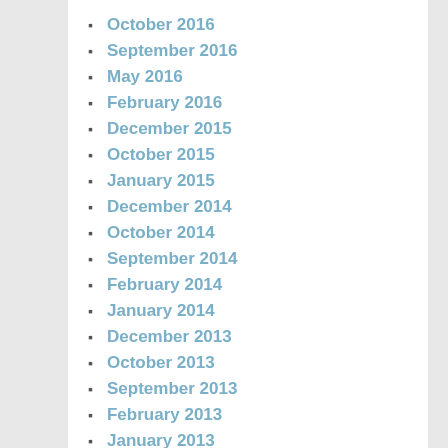October 2016
September 2016
May 2016
February 2016
December 2015
October 2015
January 2015
December 2014
October 2014
September 2014
February 2014
January 2014
December 2013
October 2013
September 2013
February 2013
January 2013
November 2012
October 2012
June 2012
March 2012